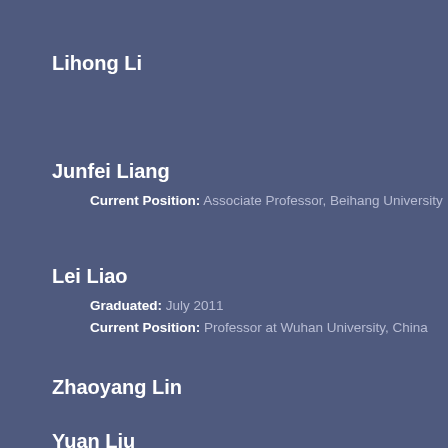Lihong Li
Junfei Liang
Current Position: Associate Professor, Beihang University
Lei Liao
Graduated: July 2011
Current Position: Professor at Wuhan University, China
Zhaoyang Lin
Yuan Liu